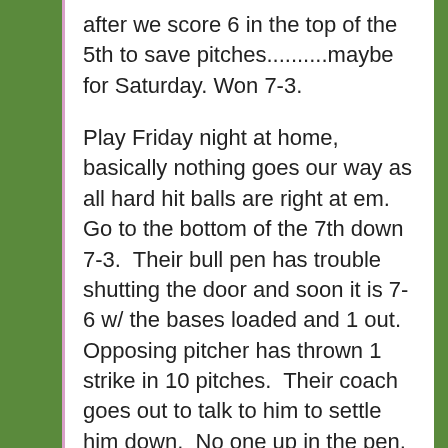after we score 6 in the top of the 5th to save pitches..........maybe for Saturday. Won 7-3.
Play Friday night at home, basically nothing goes our way as all hard hit balls are right at em.  Go to the bottom of the 7th down 7-3.  Their bull pen has trouble shutting the door and soon it is 7-6 w/ the bases loaded and 1 out.  Opposing pitcher has thrown 1 strike in 10 pitches.  Their coach goes out to talk to him to settle him down.  No one up in the pen, it's his game.  We have our 7 hole catcher up who has had a decent post season hitting the ball hard, he's also had a few successful suicide squeeze attempt throughout the year.